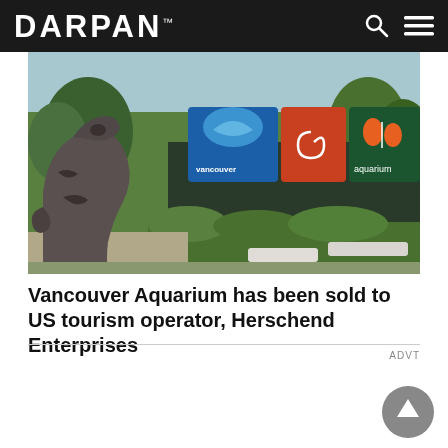DARPAN™
[Figure (photo): Vancouver Aquarium exterior showing a large indigenous carved orca sculpture in the foreground and the aquarium entrance with colorful signs including blue Vancouver Aquarium dolphin logo, orange and red spiral logo, and green background with orange clownfish, surrounded by green trees and hedges]
Vancouver Aquarium has been sold to US tourism operator, Herschend Enterprises
ADVT